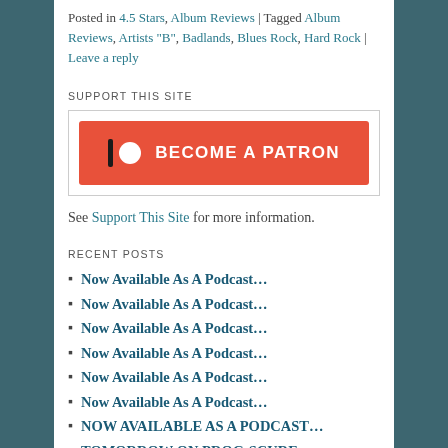Posted in 4.5 Stars, Album Reviews | Tagged Album Reviews, Artists "B", Badlands, Blues Rock, Hard Rock | Leave a reply
SUPPORT THIS SITE
[Figure (other): Patreon 'Become a Patron' button in orange/red color]
See Support This Site for more information.
RECENT POSTS
Now Available As A Podcast…
Now Available As A Podcast…
Now Available As A Podcast…
Now Available As A Podcast…
Now Available As A Podcast…
Now Available As A Podcast…
NOW AVAILABLE AS A PODCAST…
TOMORROW ON PROG-SCURE…